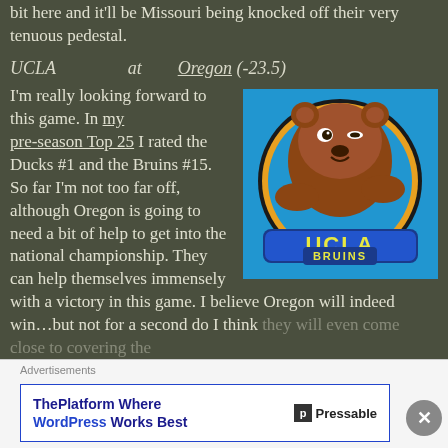bit here and it'll be Missouri being knocked off their very tenuous pedestal.
UCLA    at    Oregon (-23.5)
I'm really looking forward to this game. In my pre-season Top 25 I rated the Ducks #1 and the Bruins #15. So far I'm not too far off, although Oregon is going to need a bit of help to get into the national championship. They can help themselves immensely with a victory in this game. I believe Oregon will indeed win…but not for a second do I think they will even come close to covering the
[Figure (logo): UCLA Bruins logo - bear mascot on blue background with gold border, text UCLA BRUINS]
Advertisements
ThePlatform Where WordPress Works Best   Pressable